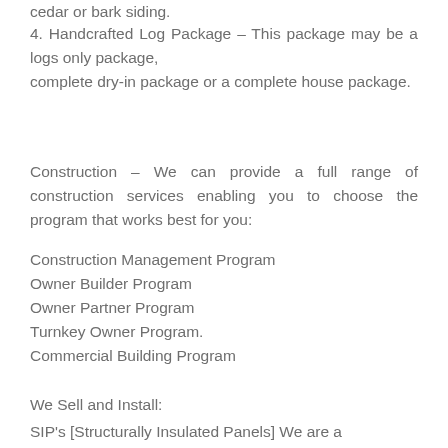cedar or bark siding.
4. Handcrafted Log Package – This package may be a logs only package, complete dry-in package or a complete house package.
Construction – We can provide a full range of construction services enabling you to choose the program that works best for you:
Construction Management Program
Owner Builder Program
Owner Partner Program
Turnkey Owner Program.
Commercial Building Program
We Sell and Install:
SIP's [Structurally Insulated Panels] We are a